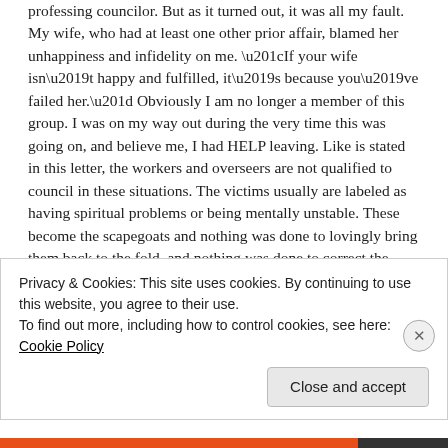professing councilor. But as it turned out, it was all my fault. My wife, who had at least one other prior affair, blamed her unhappiness and infidelity on me. “If your wife isn’t happy and fulfilled, it’s because you’ve failed her.” Obviously I am no longer a member of this group. I was on my way out during the very time this was going on, and believe me, I had HELP leaving. Like is stated in this letter, the workers and overseers are not qualified to council in these situations. The victims usually are labeled as having spiritual problems or being mentally unstable. These become the scapegoats and nothing was done to lovingly bring them back to the fold, and nothing was done to correct the immorality that took place. At least, this immorality should have been exposed and some sort of punishment ministered.
Privacy & Cookies: This site uses cookies. By continuing to use this website, you agree to their use.
To find out more, including how to control cookies, see here: Cookie Policy